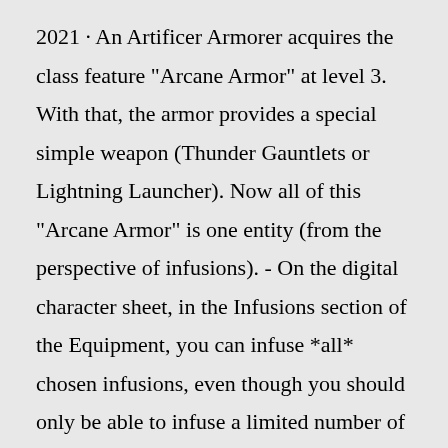2021 · An Artificer Armorer acquires the class feature "Arcane Armor" at level 3. With that, the armor provides a special simple weapon (Thunder Gauntlets or Lightning Launcher). Now all of this "Arcane Armor" is one entity (from the perspective of infusions). - On the digital character sheet, in the Infusions section of the Equipment, you can infuse *all* chosen infusions, even though you should only be able to infuse a limited number of items.